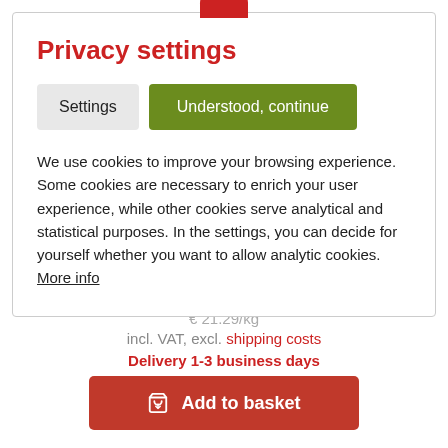Privacy settings
Settings
Understood, continue
We use cookies to improve your browsing experience. Some cookies are necessary to enrich your user experience, while other cookies serve analytical and statistical purposes. In the settings, you can decide for yourself whether you want to allow analytic cookies. More info
€ 21.29/kg
incl. VAT, excl. shipping costs
Delivery 1-3 business days
Chicken hearts & organic Beetroot
Add to basket